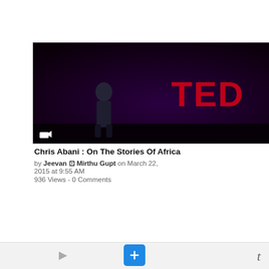[Figure (screenshot): Video thumbnail for Chris Abani TED Talk - person on a dark stage with TED logo in red]
Chris Abani : On The Stories Of Africa
by Jeevan ⊡ Mirthu Gupt on March 22, 2015 at 9:55 AM
936 Views - 0 Comments
[Figure (screenshot): Video thumbnail for Twins Come Out To Dad - two young men in a room]
Twins Come Out To Dad
by Jeevan ⊡ Mirthu Gupt on January 15, 2015 at 12:31 PM
955 Views - 0 Comments
[Figure (screenshot): Partially visible card - Co... Fa... title, by..., 20..., 80...]
[Figure (screenshot): Video thumbnail - young girl at an event, dark top, ornate fence in background]
[Figure (screenshot): Video placeholder with three dots icon on grey background]
[Figure (screenshot): Partially visible third card bottom row]